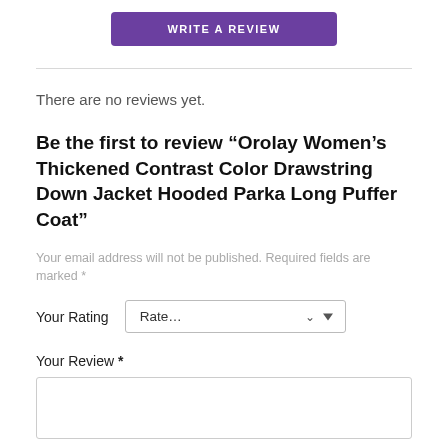[Figure (other): Purple 'WRITE A REVIEW' button]
There are no reviews yet.
Be the first to review “Orolay Women’s Thickened Contrast Color Drawstring Down Jacket Hooded Parka Long Puffer Coat”
Your email address will not be published. Required fields are marked *
Your Rating   Rate...
Your Review *
[Figure (other): Empty text area for review input]